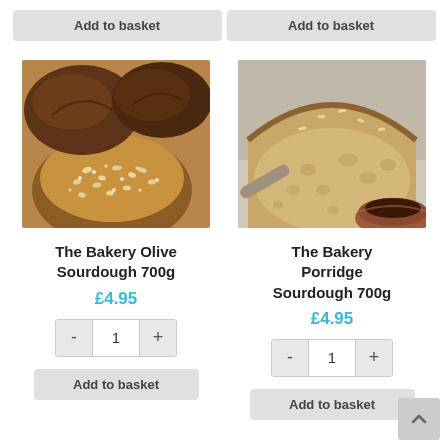[Figure (other): Add to basket button (top left)]
[Figure (other): Add to basket button (top right)]
[Figure (photo): Photo of rustic sourdough bread loaves with seeds]
[Figure (photo): Photo of sliced porridge sourdough bread loaf]
The Bakery Olive Sourdough 700g
£4.95
[Figure (other): Quantity selector with - 1 + buttons]
[Figure (other): Add to basket button (bottom left)]
The Bakery Porridge Sourdough 700g
£4.95
[Figure (other): Quantity selector with - 1 + buttons]
[Figure (other): Add to basket button (bottom right)]
[Figure (other): Scroll to top button (chevron up icon)]